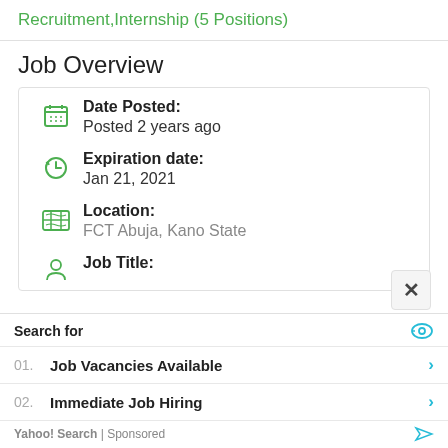Recruitment,Internship (5 Positions)
Job Overview
Date Posted:
Posted 2 years ago
Expiration date:
Jan 21, 2021
Location:
FCT Abuja, Kano State
Job Title:
Search for
01. Job Vacancies Available
02. Immediate Job Hiring
Yahoo! Search | Sponsored